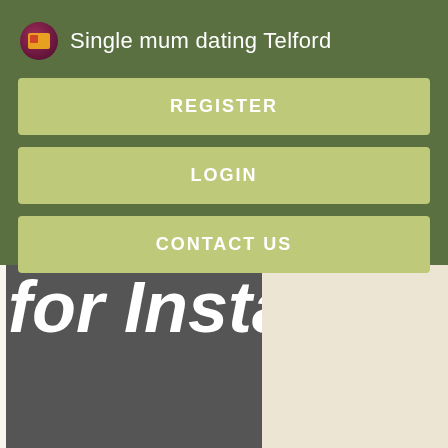Single mum dating Telford
REGISTER
LOGIN
CONTACT US
[Figure (screenshot): Partially visible text reading 'for Insta' in large bold italic white font on dark grey background, with a light beige panel to the right]